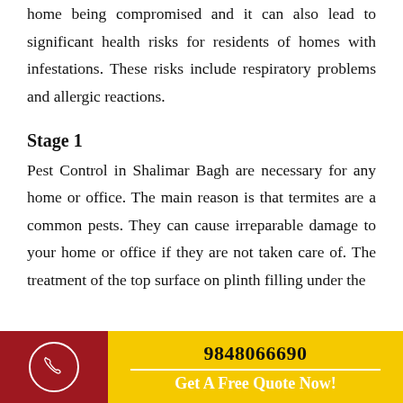home being compromised and it can also lead to significant health risks for residents of homes with infestations. These risks include respiratory problems and allergic reactions.
Stage 1
Pest Control in Shalimar Bagh are necessary for any home or office. The main reason is that termites are a common pests. They can cause irreparable damage to your home or office if they are not taken care of. The treatment of the top surface on plinth filling under the
9848066690  Get A Free Quote Now!